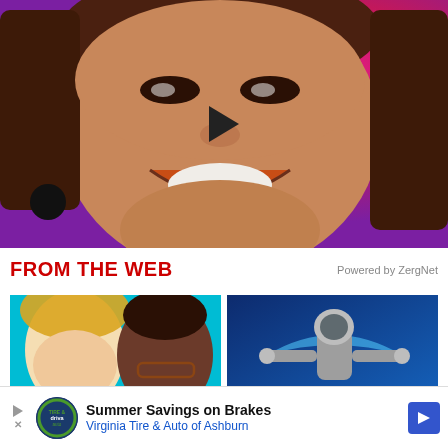[Figure (photo): Video thumbnail showing a young Asian woman smiling broadly against a pink/magenta background, with a black play button triangle in the center and a black circle indicator in the lower left corner.]
FROM THE WEB
Powered by ZergNet
[Figure (photo): Thumbnail showing a blonde woman and a man with glasses against a teal background.]
[Figure (photo): Thumbnail showing a person in a spacesuit with arms outstretched against a blue background.]
Summer Savings on Brakes Virginia Tire & Auto of Ashburn